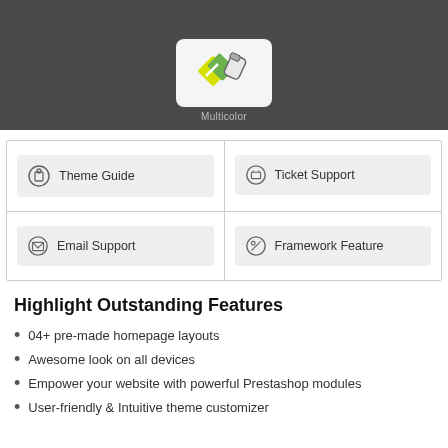[Figure (photo): Dark background image with a white rounded rectangle containing a multicolor paint/tool icon. Caption 'Multicolor' appears below the icon in light gray text.]
| Theme Guide | Ticket Support |
| Email Support | Framework Feature |
Highlight Outstanding Features
04+ pre-made homepage layouts
Awesome look on all devices
Empower your website with powerful Prestashop modules
User-friendly & Intuitive theme customizer